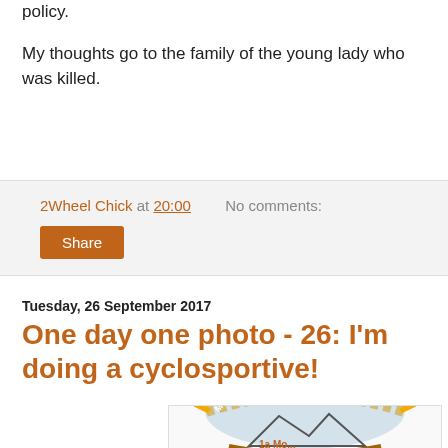policy.
My thoughts go to the family of the young lady who was killed.
2Wheel Chick at 20:00   No comments:
Share
Tuesday, 26 September 2017
One day one photo - 26: I'm doing a cyclosportive!
[Figure (logo): Madone-Peille cyclosportive event logo: orange gear/cog shape with mountain silhouette and text 'MADONE-PEILLE' around the top and '1a Mo...' at bottom]